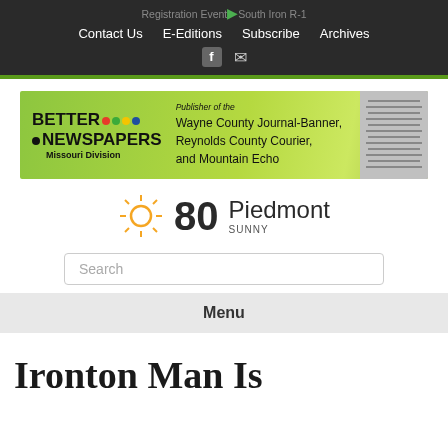Registration Event at South Iron R-1
Contact Us   E-Editions   Subscribe   Archives
[Figure (screenshot): Better Newspapers Missouri Division banner ad — Publisher of the Wayne County Journal-Banner, Reynolds County Courier, and Mountain Echo]
80  Piedmont  SUNNY
Search
Menu
Ironton Man Is